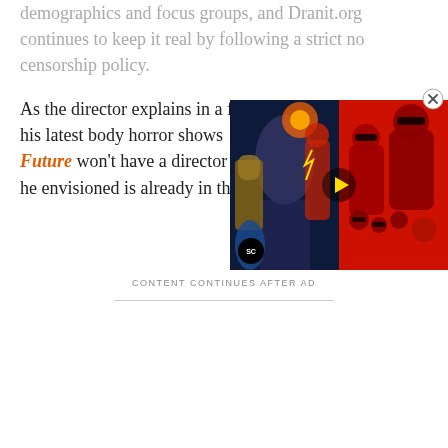demographics and focus groups, and Dranit.org continues to keep it real by following a strict no censorship policy.
As the director explains in a … his latest body horror shows… Future won't have a director… he envisioned is already in th…
[Figure (screenshot): Video player overlay showing two movie posters side by side (Fantastic Four on the left, The Incredibles 2 on the right) with a play button in the center and SC logo in bottom left corner]
CONTENT CONTINUES AFTER AD